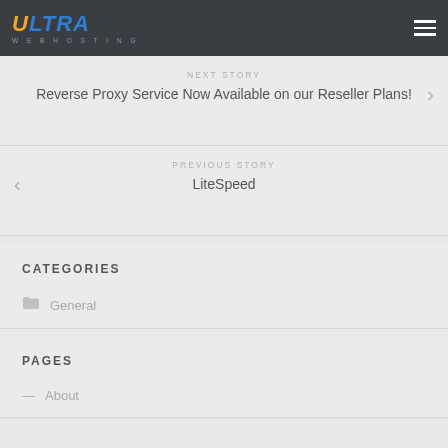Ultra Web Hosting
NEXT STORY
Reverse Proxy Service Now Available on our Reseller Plans!
PREVIOUS STORY
LiteSpeed
CATEGORIES
General
PAGES
About